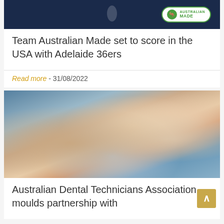[Figure (photo): Dark navy blue banner with Australian Made logo (kangaroo in green circle badge) on the right side]
Team Australian Made set to score in the USA with Adelaide 36ers
Read more - 31/08/2022
[Figure (photo): Close-up photo of hands working on a dental mould/prosthetic, using a small brush tool, wearing blue gloves]
Australian Dental Technicians Association moulds partnership with